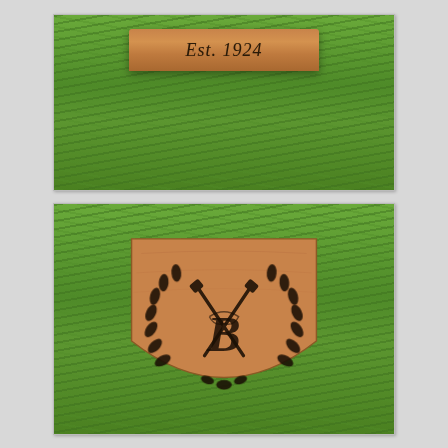[Figure (photo): Close-up photo of a wooden block/plaque with 'Est. 1924' engraved or painted on it, resting on a green grass background]
[Figure (photo): Photo of a wooden shield-shaped plaque on green grass, featuring an engraved emblem with crossed golf clubs, a decorative letter B, and a laurel wreath border]